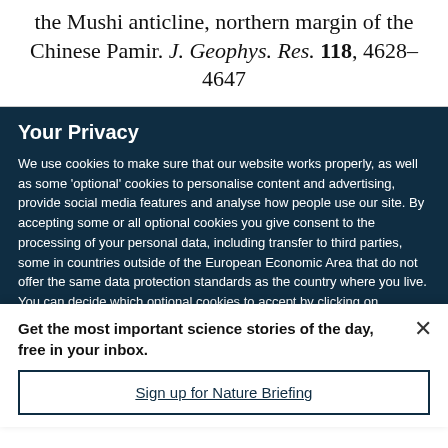the Mushi anticline, northern margin of the Chinese Pamir. J. Geophys. Res. 118, 4628–4647
Your Privacy
We use cookies to make sure that our website works properly, as well as some 'optional' cookies to personalise content and advertising, provide social media features and analyse how people use our site. By accepting some or all optional cookies you give consent to the processing of your personal data, including transfer to third parties, some in countries outside of the European Economic Area that do not offer the same data protection standards as the country where you live. You can decide which optional cookies to accept by clicking on 'Manage Settings', where you can
Get the most important science stories of the day, free in your inbox.
Sign up for Nature Briefing